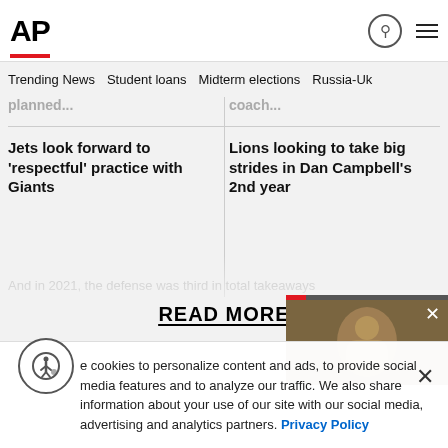AP
Trending News  Student loans  Midterm elections  Russia-Uk
planned... coach...
Jets look forward to 'respectful' practice with Giants
Lions looking to take big strides in Dan Campbell's 2nd year
And in 2021, the defense was third in total takeaways
READ MORE
e cookies to personalize content and ads, to provide social media features and to analyze our traffic. We also share information about your use of our site with our social media, advertising and analytics partners. Privacy Policy